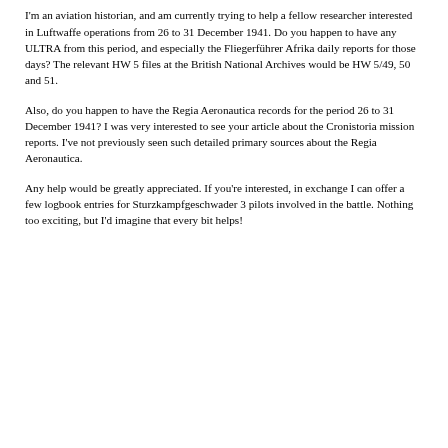Congratulations on a fine website. I really enjoyed browsing it. Good luck with the book project as well.
I'm an aviation historian, and am currently trying to help a fellow researcher interested in Luftwaffe operations from 26 to 31 December 1941. Do you happen to have any ULTRA from this period, and especially the Fliegerführer Afrika daily reports for those days? The relevant HW 5 files at the British National Archives would be HW 5/49, 50 and 51.
Also, do you happen to have the Regia Aeronautica records for the period 26 to 31 December 1941? I was very interested to see your article about the Cronistoria mission reports. I've not previously seen such detailed primary sources about the Regia Aeronautica.
Any help would be greatly appreciated. If you're interested, in exchange I can offer a few logbook entries for Sturzkampfgeschwader 3 pilots involved in the battle. Nothing too exciting, but I'd imagine that every bit helps!